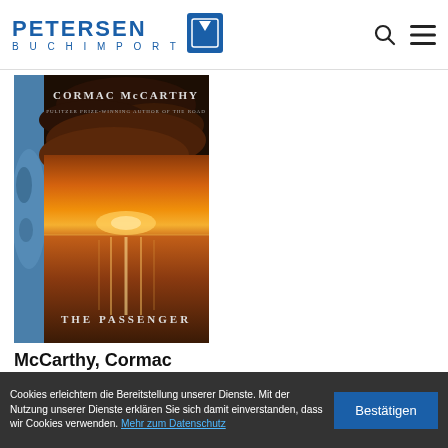PETERSEN BUCHIMPORT — logo with book icon, search and menu icons
[Figure (photo): Book cover of 'The Passenger' by Cormac McCarthy. Shows a dramatic sunset over the ocean with dark clouds and warm orange/red tones. Author name 'CORMAC McCARTHY' at top, subtitle 'PULITZER PRIZE-WINNING AUTHOR OF THE ROAD' below, 'THE PASSENGER' at bottom. Left edge shows blue-tinted close-up of a human face.]
McCarthy, Cormac
The Passenger
Cookies erleichtern die Bereitstellung unserer Dienste. Mit der Nutzung unserer Dienste erklären Sie sich damit einverstanden, dass wir Cookies verwenden. Mehr zum Datenschutz